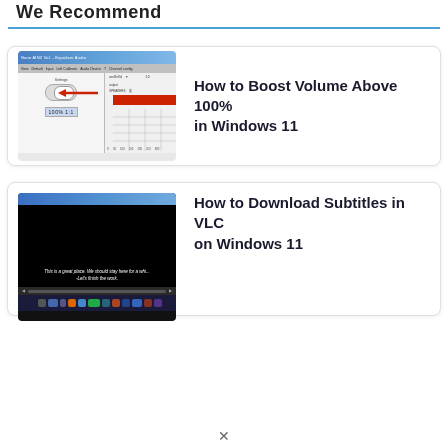We Recommend
[Figure (screenshot): Windows volume mixer settings screenshot showing audio controls and a red bar with a red arrow pointing to a value]
How to Boost Volume Above 100% in Windows 11
[Figure (screenshot): VLC media player screenshot showing a video with subtitles reading 'This is a great place. We should stay here for a whi... -Let's finish the work.']
How to Download Subtitles in VLC on Windows 11